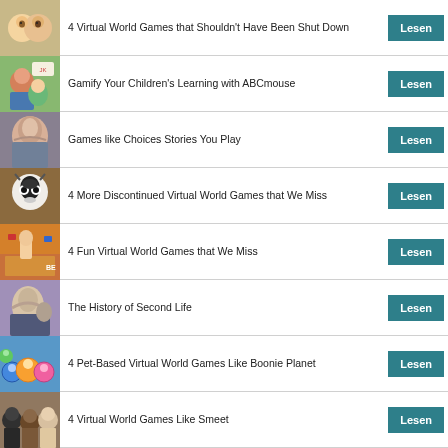4 Virtual World Games that Shouldn't Have Been Shut Down
Gamify Your Children's Learning with ABCmouse
Games like Choices Stories You Play
4 More Discontinued Virtual World Games that We Miss
4 Fun Virtual World Games that We Miss
The History of Second Life
4 Pet-Based Virtual World Games Like Boonie Planet
4 Virtual World Games Like Smeet